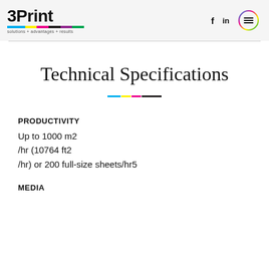3Print solutions + advantages + results
Technical Specifications
PRODUCTIVITY
Up to 1000 m2 /hr (10764 ft2 /hr) or 200 full-size sheets/hr5
MEDIA